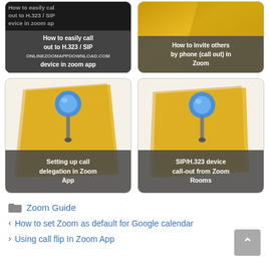[Figure (screenshot): Thumbnail card: 'How to easily call out to H.323 / SIP device in zoom app' - dark background with white overlay text]
[Figure (screenshot): Thumbnail card: 'How to Invite others by phone (call out) in Zoom' - yellow/gold background with grey overlay text]
[Figure (illustration): Thumbnail card with blue pin and yellow note: 'Setting up call delegation in Zoom App']
[Figure (illustration): Thumbnail card with blue pin and yellow note: 'SIP/H.323 device call-out from Zoom Rooms']
Zoom Guide
< How to set Zoom as default for Google calendar
> Using call flip In Zoom App